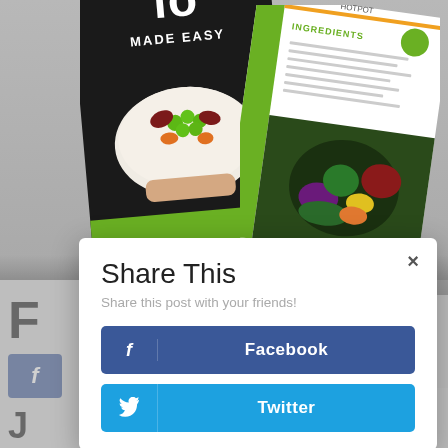[Figure (photo): Top portion of a webpage showing food/recipe book cover with a bowl of colorful vegetables (peas, beans, carrots) and a recipe card for 'Hotpot' with ingredients listed, overlaid on a gray background. To the left edge a partial letter 'F' and Facebook button are visible. The image is partially obscured by a share dialog.]
Share This
Share this post with your friends!
Facebook
Twitter